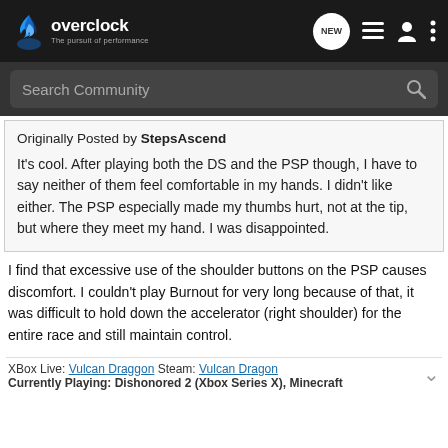overclock – The pursuit of performance
Search Community
Originally Posted by StepsAscend

It's cool. After playing both the DS and the PSP though, I have to say neither of them feel comfortable in my hands. I didn't like either. The PSP especially made my thumbs hurt, not at the tip, but where they meet my hand. I was disappointed.
I find that excessive use of the shoulder buttons on the PSP causes discomfort. I couldn't play Burnout for very long because of that, it was difficult to hold down the accelerator (right shoulder) for the entire race and still maintain control.
XBox Live: Vulcan Draggon Steam: Vulcan Dragon
Currently Playing: Dishonored 2 (Xbox Series X), Minecraft